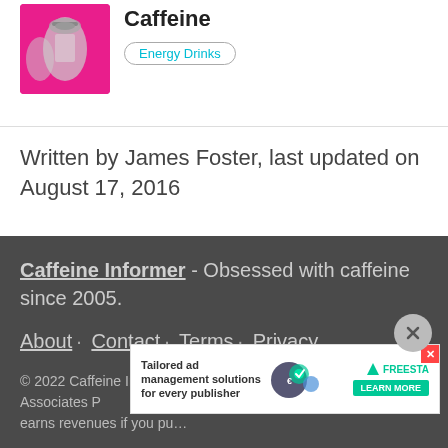[Figure (photo): Photo of energy drink cans with pink background]
Energy Drinks with the Most Caffeine
Energy Drinks
Written by James Foster, last updated on August 17, 2016
Caffeine Informer - Obsessed with caffeine since 2005.
About · Contact · Terms · Privacy
© 2022 Caffeine Informer is a participant in the Amazon Associates Program...revenues if you pu...